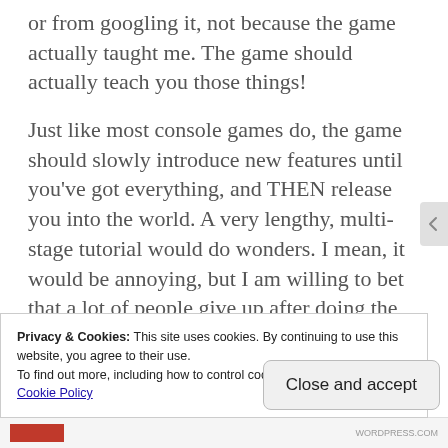or from googling it, not because the game actually taught me. The game should actually teach you those things!
Just like most console games do, the game should slowly introduce new features until you've got everything, and THEN release you into the world. A very lengthy, multi-stage tutorial would do wonders. I mean, it would be annoying, but I am willing to bet that a lot of people give up after doing the sad tutorials and then going into a real game all like WTF?!?!
Privacy & Cookies: This site uses cookies. By continuing to use this website, you agree to their use.
To find out more, including how to control cookies, see here:
Cookie Policy
Close and accept